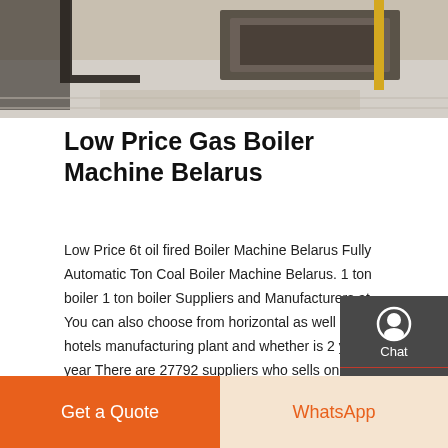[Figure (photo): Industrial boiler machine equipment in a factory/workshop setting, showing metal frames and concrete floor]
Low Price Gas Boiler Machine Belarus
Low Price 6t oil fired Boiler Machine Belarus Fully Automatic Ton Coal Boiler Machine Belarus. 1 ton boiler 1 ton boiler Suppliers and Manufacturers at. You can also choose from horizontal as well as from hotels manufacturing plant and whether is 2 years or year There are 27792 suppliers who sells on Alibabacom mainly located in Asia.
Get a quote
Chat
Email
Contact
Get a Quote
WhatsApp